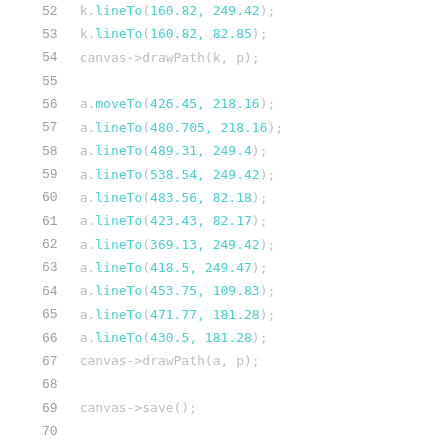52    k.lineTo(160.82, 249.42);
53    k.lineTo(160.82, 82.85);
54    canvas->drawPath(k, p);
55
56    a.moveTo(426.45, 218.16);
57    a.lineTo(480.705, 218.16);
58    a.lineTo(489.31, 249.4);
59    a.lineTo(538.54, 249.42);
60    a.lineTo(483.56, 82.18);
61    a.lineTo(423.43, 82.17);
62    a.lineTo(369.13, 249.42);
63    a.lineTo(418.5, 249.47);
64    a.lineTo(453.75, 109.83);
65    a.lineTo(471.77, 181.28);
66    a.lineTo(430.5, 181.28);
67    canvas->drawPath(a, p);
68
69    canvas->save();
70
71    float pos = frame > 0.5 ? 1 : frame * 2;
72    canvas->translate((1-pos) * -200.0, 0.0);